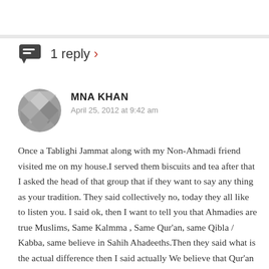1 reply ›
MNA KHAN
April 25, 2012 at 9:42 am
Once a Tablighi Jammat along with my Non-Ahmadi friend visited me on my house.I served them biscuits and tea after that I asked the head of that group that if they want to say any thing as your tradition. They said collectively no, today they all like to listen you. I said ok, then I want to tell you that Ahmadies are true Muslims, Same Kalmma , Same Qur'an, same Qibla / Kabba, same believe in Sahih Ahadeeths.Then they said what is the actual difference then I said actually We believe that Qur'an is the Last Sharia ( Holly Book)and Muhammad ( S.A) is the Last Sharia Prophet but you are waiting for Messiah-E-Musvi that was also having his own Sharia, Injeel/Bible.
While Ahmadies believe in Messiah-E-Muhammadi and Immam Al-Mehdi came within Um-ah on the agreed prescribed